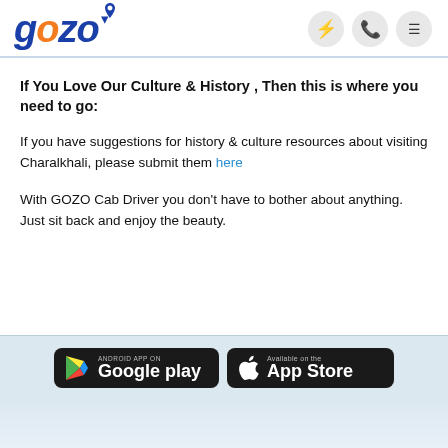gozo
If You Love Our Culture & History , Then this is where you need to go:
If you have suggestions for history & culture resources about visiting Charalkhali, please submit them here
With GOZO Cab Driver you don't have to bother about anything. Just sit back and enjoy the beauty.
[Figure (logo): Google Play and App Store download buttons]